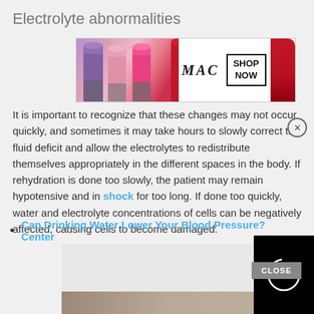Electrolyte abnormalities
[Figure (screenshot): MAC cosmetics advertisement banner with lipsticks and 'SHOP NOW' button]
It is im[portant to recognize that these changes may not] occur quickly, and sometimes it may take hours to slowly correct the fluid deficit and allow the electrolytes to redistribute themselves appropriately in the different spaces in the body. If rehydration is done too slowly, the patient may remain hypotensive and in shock for to[o long. If done too quickly, water and electrolyte concentrat[ions in cells] be negatively affected, causing c[ells to] become damaged.
[Figure (screenshot): Black video overlay with circular loading spinner]
Can Drinking Water Lower Your Blood Pressure? Center
[Figure (screenshot): Gray advertisement box with CLOSE button]